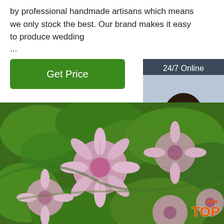by professional handmade artisans which means we only stock the best. Our brand makes it easy to produce wedding ...
[Figure (screenshot): Green 'Get Price' button]
[Figure (screenshot): 24/7 Online chat widget with woman wearing headset, 'Click here for free chat!' text, and orange QUOTATION button]
[Figure (photo): Close-up photo of pink flowers with green leaves]
TOP